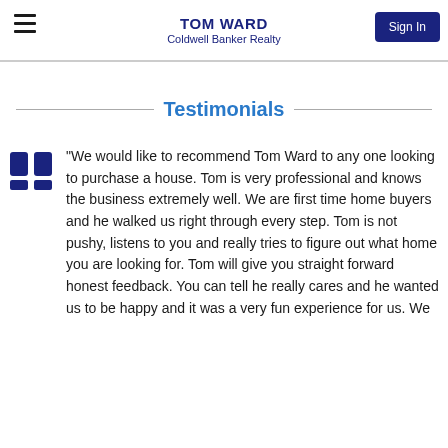TOM WARD
Coldwell Banker Realty
Testimonials
"We would like to recommend Tom Ward to any one looking to purchase a house. Tom is very professional and knows the business extremely well. We are first time home buyers and he walked us right through every step. Tom is not pushy, listens to you and really tries to figure out what home you are looking for. Tom will give you straight forward honest feedback. You can tell he really cares and he wanted us to be happy and it was a very fun experience for us. We